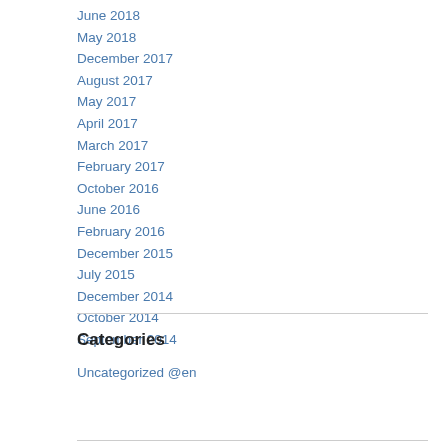June 2018
May 2018
December 2017
August 2017
May 2017
April 2017
March 2017
February 2017
October 2016
June 2016
February 2016
December 2015
July 2015
December 2014
October 2014
September 2014
Categories
Uncategorized @en